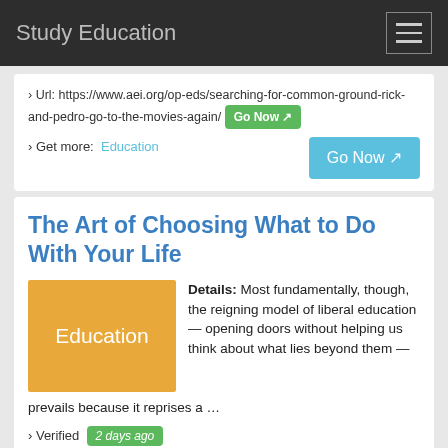Study Education
› Url: https://www.aei.org/op-eds/searching-for-common-ground-rick-and-pedro-go-to-the-movies-again/ Go Now
› Get more: Education  Go Now
The Art of Choosing What to Do With Your Life
Details: Most fundamentally, though, the reigning model of liberal education — opening doors without helping us think about what lies beyond them — prevails because it reprises a …
› Verified 2 days ago
› Url: https://www.aei.org/op-eds/the-art-of-choosing-what-to-do-with-your-life%EF%BF%BC/ Go Now
› Get more: Education